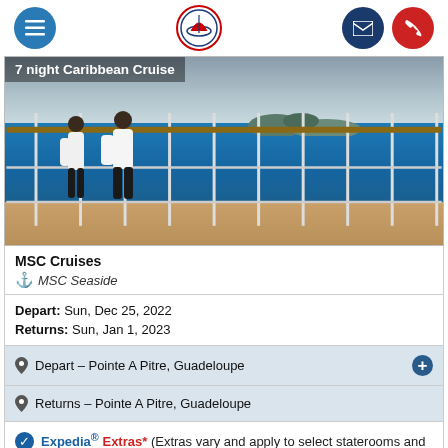Navigation bar with menu, logo, email, and phone buttons
[Figure (photo): 7 night Caribbean Cruise — two people walking on a cruise ship deck with ocean and islands in background]
7 night Caribbean Cruise
MSC Cruises
MSC Seaside
Depart: Sun, Dec 25, 2022
Returns: Sun, Jan 1, 2023
Depart – Pointe A Pitre, Guadeloupe
Returns – Pointe A Pitre, Guadeloupe
Expedia® Extras* (Extras vary and apply to select staterooms and prices)